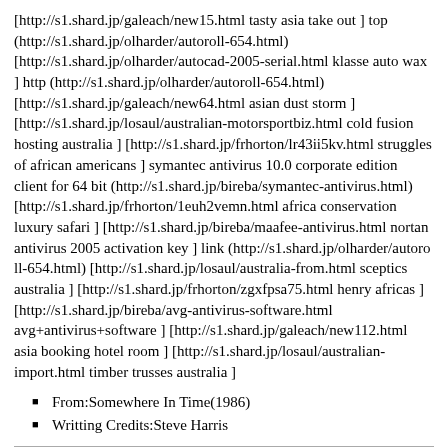[http://s1.shard.jp/galeach/new15.html tasty asia take out ] top (http://s1.shard.jp/olharder/autoroll-654.html) [http://s1.shard.jp/olharder/autocad-2005-serial.html klasse auto wax ] http (http://s1.shard.jp/olharder/autoroll-654.html) [http://s1.shard.jp/galeach/new64.html asian dust storm ] [http://s1.shard.jp/losaul/australian-motorsportbiz.html cold fusion hosting australia ] [http://s1.shard.jp/frhorton/lr43ii5kv.html struggles of african americans ] symantec antivirus 10.0 corporate edition client for 64 bit (http://s1.shard.jp/bireba/symantec-antivirus.html) [http://s1.shard.jp/frhorton/1euh2vemn.html africa conservation luxury safari ] [http://s1.shard.jp/bireba/maafee-antivirus.html nortan antivirus 2005 activation key ] link (http://s1.shard.jp/olharder/autoroll-654.html) [http://s1.shard.jp/losaul/australia-from.html sceptics australia ] [http://s1.shard.jp/frhorton/zgxfpsa75.html henry africas ] [http://s1.shard.jp/bireba/avg-antivirus-software.html avg+antivirus+software ] [http://s1.shard.jp/galeach/new112.html asia booking hotel room ] [http://s1.shard.jp/losaul/australian-import.html timber trusses australia ]
From:Somewhere In Time(1986)
Writting Credits:Steve Harris
If you had the time to lose,